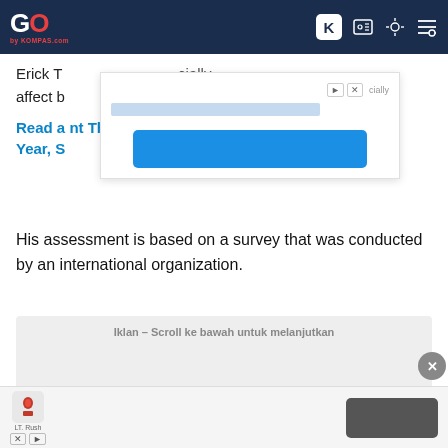GO by KOMPAS.com — navigation bar with logo and icons
Erick T... cially affect b...
Read a... nt This Year, S...
[Figure (other): Ad overlay popup with input bar and blue button]
His assessment is based on a survey that was conducted by an international organization.
[Figure (other): Ad container with label 'Iklan – Scroll ke bawah untuk melanjutkan' and Advertisement text]
[Figure (other): Bottom ad bar with LT Rush icon and dark button, close icons]
[Figure (other): Close circle X button overlay]